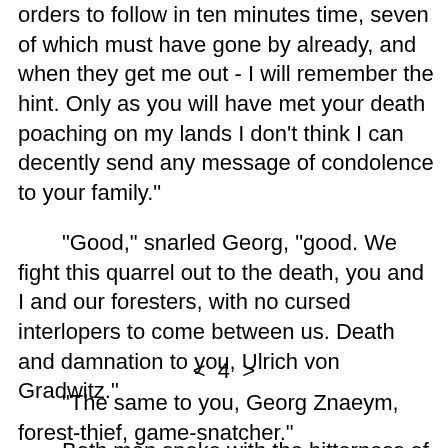orders to follow in ten minutes time, seven of which must have gone by already, and when they get me out - I will remember the hint. Only as you will have met your death poaching on my lands I don't think I can decently send any message of condolence to your family."
"Good," snarled Georg, "good. We fight this quarrel out to the death, you and I and our foresters, with no cursed interlopers to come between us. Death and damnation to you, Ulrich von Gradwitz."
< 4 >
"The same to you, Georg Znaeym, forest-thief, game-snatcher."
Both men spoke with the bitterness of possible defeat